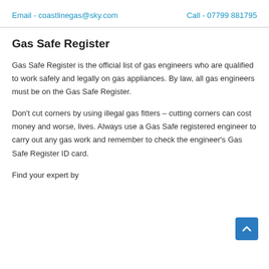Email - coastlinegas@sky.com    Call - 07799 881795
Gas Safe Register
Gas Safe Register is the official list of gas engineers who are qualified to work safely and legally on gas appliances. By law, all gas engineers must be on the Gas Safe Register.
Don't cut corners by using illegal gas fitters – cutting corners can cost money and worse, lives. Always use a Gas Safe registered engineer to carry out any gas work and remember to check the engineer's Gas Safe Register ID card.
Find your expert by